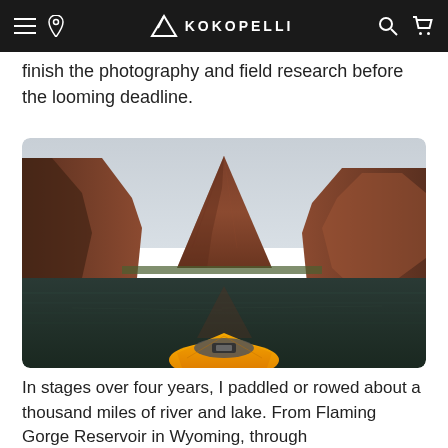KOKOPELLI (navigation bar with logo, hamburger menu, location pin, search, and cart icons)
finish the photography and field research before the looming deadline.
[Figure (photo): A kayak paddler's point-of-view on a calm river/lake surrounded by towering red sandstone canyon walls. A dramatic pointed red rock spire rises prominently in the center background. The bow of a bright yellow kayak is visible in the foreground. Overcast sky above.]
In stages over four years, I paddled or rowed about a thousand miles of river and lake. From Flaming Gorge Reservoir in Wyoming, through